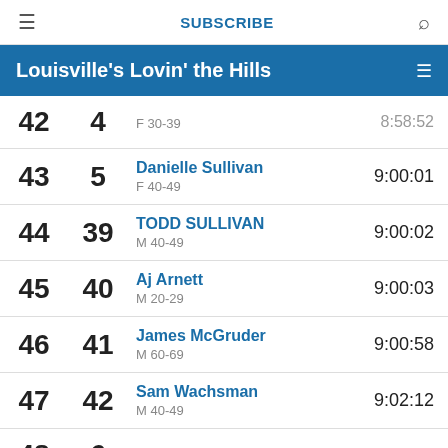≡   SUBSCRIBE   🔍
Louisville's Lovin' the Hills
| Place | Bib | Name / Category | Time |
| --- | --- | --- | --- |
| 42 | 4 | F 30-39 | 8:58:52 |
| 43 | 5 | Danielle Sullivan
F 40-49 | 9:00:01 |
| 44 | 39 | TODD SULLIVAN
M 40-49 | 9:00:02 |
| 45 | 40 | Aj Arnett
M 20-29 | 9:00:03 |
| 46 | 41 | James McGruder
M 60-69 | 9:00:58 |
| 47 | 42 | Sam Wachsman
M 40-49 | 9:02:12 |
| 48 | 6 | Gina Gagliano | 9:04:28 |